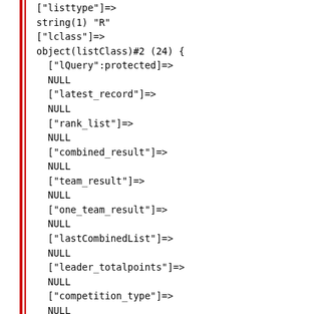["listtype"]=>
string(1) "R"
["lclass"]=>
object(listClass)#2 (24) {
  ["lQuery":protected]=>
  NULL
  ["latest_record"]=>
  NULL
  ["rank_list"]=>
  NULL
  ["combined_result"]=>
  NULL
  ["team_result"]=>
  NULL
  ["one_team_result"]=>
  NULL
  ["lastCombinedList"]=>
  NULL
  ["leader_totalpoints"]=>
  NULL
  ["competition_type"]=>
  NULL
  ["course_class"]=>
  string(1) "M"
  ["db_link":protected]=>
  resource(2) of type (mysql link)
  ["course_id"]=>
  string(2) "22"
  ["team_id"]=>
  NULL